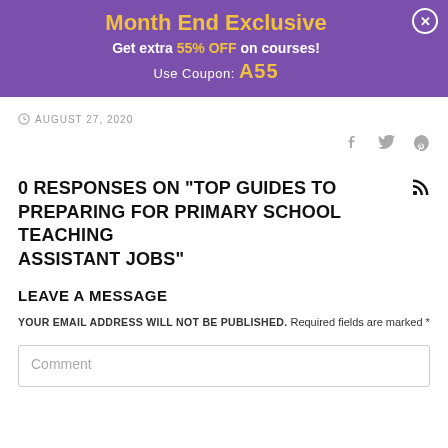[Figure (infographic): Purple promotional banner: 'Month End Exclusive - Get extra 55% OFF on courses! Use Coupon: A55' with close button]
AUGUST 27, 2020
[Figure (infographic): Social media share icons: Facebook, Twitter, Pinterest]
0 RESPONSES ON "TOP GUIDES TO PREPARING FOR PRIMARY SCHOOL TEACHING ASSISTANT JOBS"
LEAVE A MESSAGE
YOUR EMAIL ADDRESS WILL NOT BE PUBLISHED. Required fields are marked *
Comment